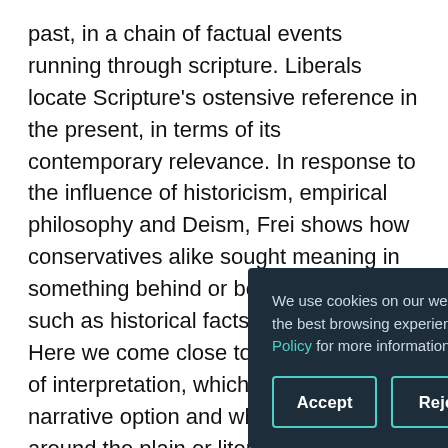past, in a chain of factual events running through scripture. Liberals locate Scripture's ostensive reference in the present, in terms of its contemporary relevance. In response to the influence of historicism, empirical philosophy and Deism, Frei shows how conservatives alike sought meaning in something behind or beyond the text, such as historical facts or ethical ideals. Here we come close to Frei's own mode of interpretation, which Collins calls the narrative option and which is oriented around the plain or literal sense of Scripture. This for Frei is not a doctrine of historical inerrancy. Rather, Frei's approach is about reading the Bible in a pre-critical manner and this amounts to an affirmation of the narrative quality of the Gospels and other parts of scripture. They are, though an unusual form of realistic narrative, is nonetheless secondary or accessory to their interpretation as realistic narratives. Thus, for
We use cookies on our website to ensure you have the best browsing experience. Read our Privacy Policy for more information.